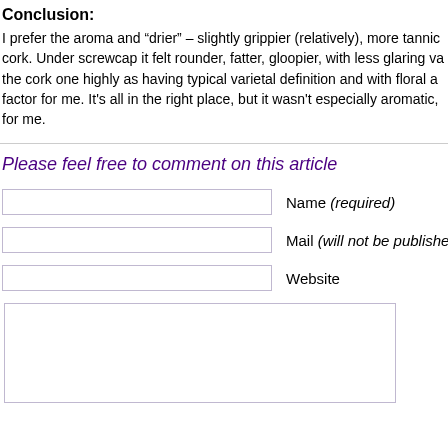Conclusion:
I prefer the aroma and “drier” – slightly grippier (relatively), more tannic cork. Under screwcap it felt rounder, fatter, gloopier, with less glaring va the cork one highly as having typical varietal definition and with floral a factor for me. It’s all in the right place, but it wasn’t especially aromatic, for me.
Please feel free to comment on this article
Name (required)
Mail (will not be published) (re
Website